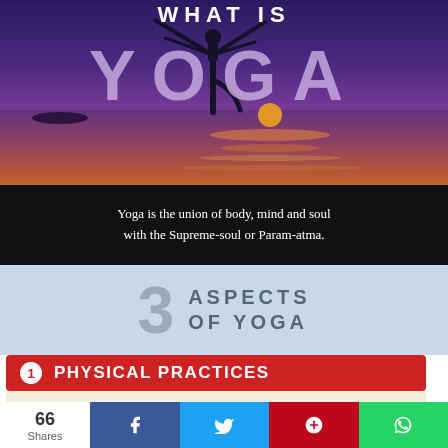[Figure (infographic): Purple/sunset ocean background with silhouette of person in tree yoga pose. Large text reads WHAT IS YOGA over the image.]
Yoga is the union of body, mind and soul with the Supreme-soul or Param-atma.
3 ASPECTS OF YOGA
1 PHYSICAL PRACTICES
A physically fit body is the preparatory step of yoga. Physical practices consists different Asanas and Karmas to strengthen and purify the body.
66 Shares